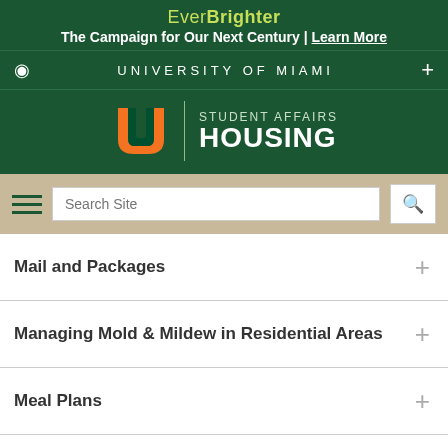EverBrighter — The Campaign for Our Next Century | Learn More
UNIVERSITY OF MIAMI
[Figure (logo): University of Miami Student Affairs Housing logo with U and C (orange and green) symbol]
Search Site
Mail and Packages
Managing Mold & Mildew in Residential Areas
Meal Plans
Mobile ID